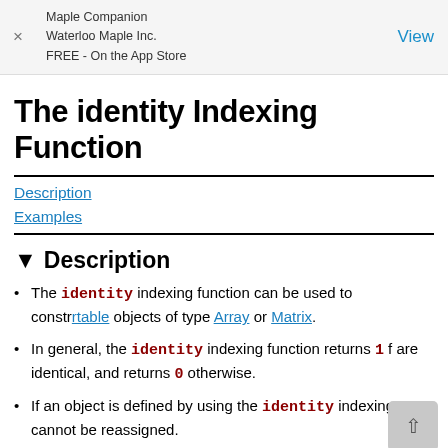Maple Companion
Waterloo Maple Inc.
FREE - On the App Store
The identity Indexing Function
Description
Examples
Description
The identity indexing function can be used to construct rtable objects of type Array or Matrix.
In general, the identity indexing function returns 1 for identical indices, and returns 0 otherwise.
If an object is defined by using the identity indexing function, cannot be reassigned.